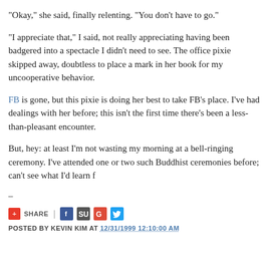"Okay," she said, finally relenting. "You don't have to go."
"I appreciate that," I said, not really appreciating having been badgered into a spectacle I didn't need to see. The office pixie skipped away, doubtless to place a mark in her book for my uncooperative behavior.
FB is gone, but this pixie is doing her best to take FB's place. I've had dealings with her before; this isn't the first time there's been a less-than-pleasant encounter.
But, hey: at least I'm not wasting my morning at a bell-ringing ceremony. I've attended one or two such Buddhist ceremonies before; can't see what I'd learn f
–
SHARE | [social icons] POSTED BY KEVIN KIM AT 12/31/1999 12:10:00 AM